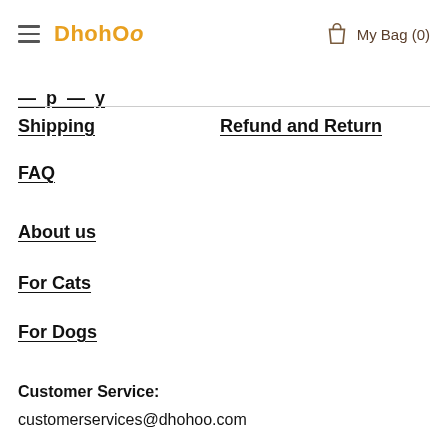DhohOo  My Bag (0)
[partial nav item - truncated]
Shipping
Refund and Return
FAQ
About us
For Cats
For Dogs
Customer Service:
customerservices@dhohoo.com